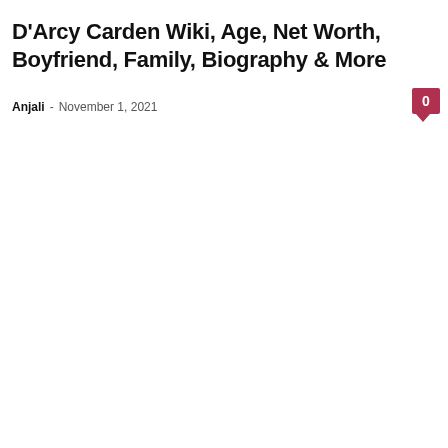D'Arcy Carden Wiki, Age, Net Worth, Boyfriend, Family, Biography & More
Anjali - November 1, 2021